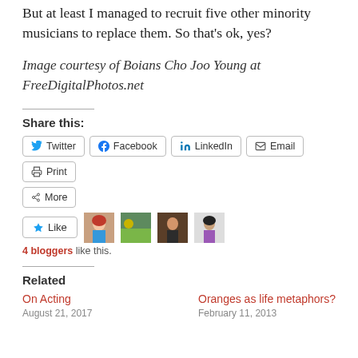But at least I managed to recruit five other minority musicians to replace them. So that's ok, yes?
Image courtesy of Boians Cho Joo Young at FreeDigitalPhotos.net
Share this:
Twitter Facebook LinkedIn Email Print More
[Figure (other): Like button and 4 blogger avatars with '4 bloggers like this.' text]
4 bloggers like this.
Related
On Acting
Oranges as life metaphors?
August 21, 2017
February 11, 2013